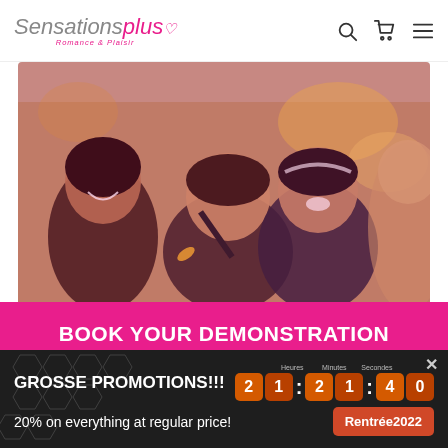Sensationsplus Romance & Plaisir
[Figure (photo): Group of smiling women at a party celebration, wearing headbands and holding party accessories]
BOOK YOUR DEMONSTRATION
Friendliness, discovery, advice and pleasure at the rendezvous ...
PLAN YOUR EVENING
GROSSE PROMOTIONS!!! 21:21:40
20% on everything at regular price!
Rentrée2022